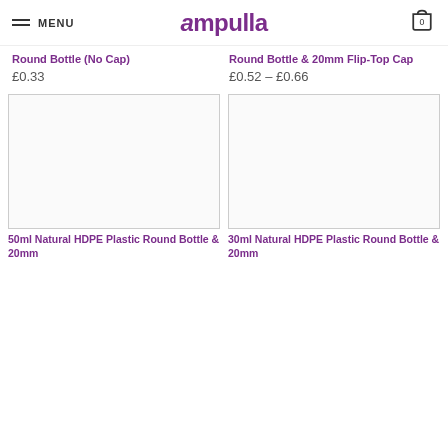MENU | Ampulla | 0
Round Bottle (No Cap)
£0.33
Round Bottle & 20mm Flip-Top Cap
£0.52 – £0.66
[Figure (photo): Product image placeholder - white/blank square for 50ml Natural HDPE Plastic Round Bottle]
[Figure (photo): Product image placeholder - white/blank square for 30ml Natural HDPE Plastic Round Bottle]
50ml Natural HDPE Plastic Round Bottle & 20mm
30ml Natural HDPE Plastic Round Bottle & 20mm